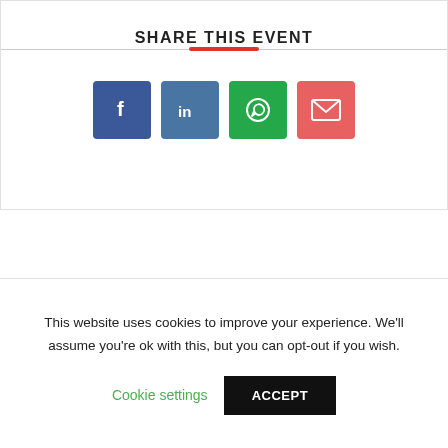SHARE THIS EVENT
[Figure (infographic): Four social share buttons: Facebook (blue), LinkedIn (blue), WhatsApp (green), Email (red-coral). Each is a rounded square icon.]
RELATED EVENTS
This website uses cookies to improve your experience. We'll assume you're ok with this, but you can opt-out if you wish.
Cookie settings
ACCEPT